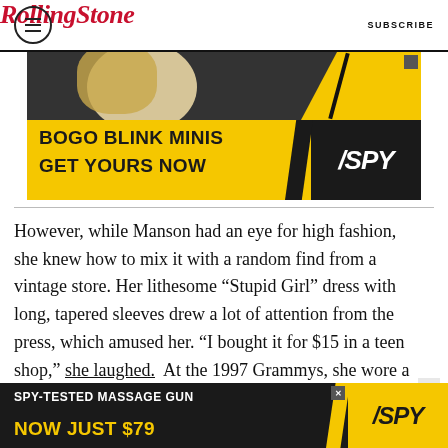Rolling Stone | SUBSCRIBE
[Figure (screenshot): SPY advertisement banner: BOGO BLINK MINIS GET YOURS NOW with SPY logo on dark/yellow background]
However, while Manson had an eye for high fashion, she knew how to mix it with a random find from a vintage store. Her lithesome “Stupid Girl” dress with long, tapered sleeves drew a lot of attention from the press, which amused her. “I bought it for $15 in a teen shop,” she laughed.  At the 1997 Grammys, she wore a zebra-print Versace dress paired with a white faux fur jacket
[Figure (screenshot): SPY advertisement banner: SPY-TESTED MASSAGE GUN NOW JUST $79 with SPY logo on dark background]